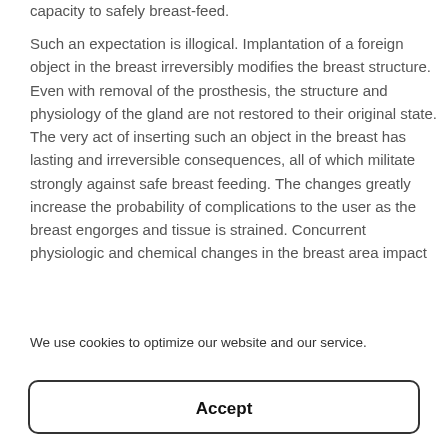capacity to safely breast-feed.
Such an expectation is illogical. Implantation of a foreign object in the breast irreversibly modifies the breast structure. Even with removal of the prosthesis, the structure and physiology of the gland are not restored to their original state. The very act of inserting such an object in the breast has lasting and irreversible consequences, all of which militate strongly against safe breast feeding. The changes greatly increase the probability of complications to the user as the breast engorges and tissue is strained. Concurrent physiologic and chemical changes in the breast area impact
We use cookies to optimize our website and our service.
Accept